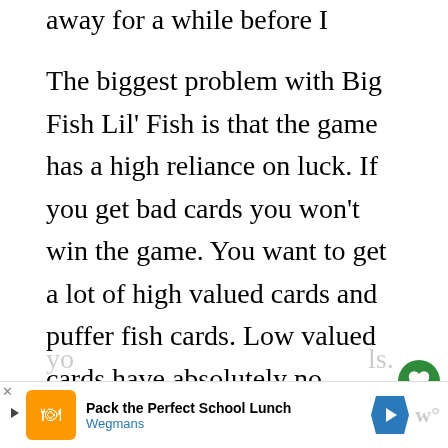away for a while before I played it again.
The biggest problem with Big Fish Lil' Fish is that the game has a high reliance on luck. If you get bad cards you won't win the game. You want to get a lot of high valued cards and puffer fish cards. Low valued cards have absolutely no benefit in the game so if you get stuck with a lot of low valued cards you will have a very hard time winning. Low valued cards are so worthless because there are so few times that you can actually play them, no one starts the pile with a low valued card
you... are